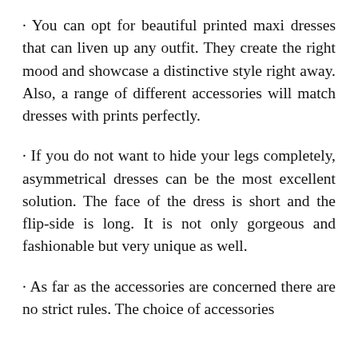· You can opt for beautiful printed maxi dresses that can liven up any outfit. They create the right mood and showcase a distinctive style right away. Also, a range of different accessories will match dresses with prints perfectly.
· If you do not want to hide your legs completely, asymmetrical dresses can be the most excellent solution. The face of the dress is short and the flip-side is long. It is not only gorgeous and fashionable but very unique as well.
· As far as the accessories are concerned there are no strict rules. The choice of accessories